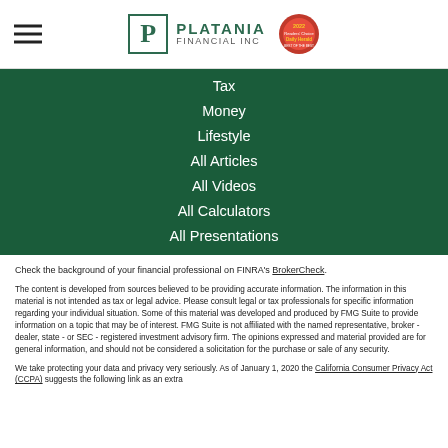[Figure (logo): Platania Financial Inc logo with green P lettermark and company name, alongside a 2022 award badge]
Tax
Money
Lifestyle
All Articles
All Videos
All Calculators
All Presentations
Check the background of your financial professional on FINRA's BrokerCheck.
The content is developed from sources believed to be providing accurate information. The information in this material is not intended as tax or legal advice. Please consult legal or tax professionals for specific information regarding your individual situation. Some of this material was developed and produced by FMG Suite to provide information on a topic that may be of interest. FMG Suite is not affiliated with the named representative, broker - dealer, state - or SEC - registered investment advisory firm. The opinions expressed and material provided are for general information, and should not be considered a solicitation for the purchase or sale of any security.
We take protecting your data and privacy very seriously. As of January 1, 2020 the California Consumer Privacy Act (CCPA) suggests the following link as an extra